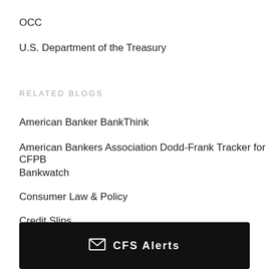OCC
U.S. Department of the Treasury
RELATED BLOGS
American Banker BankThink
American Bankers Association Dodd-Frank Tracker for CFPB
Bankwatch
Consumer Law & Policy
Credit Slips
✉ CFS Alerts